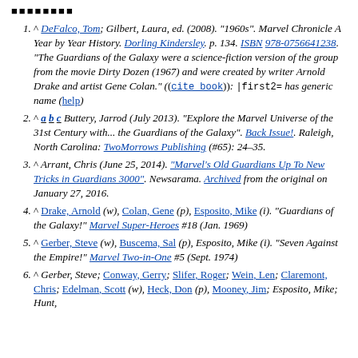■■■■■■■■
^ DeFalco, Tom; Gilbert, Laura, ed. (2008). "1960s". Marvel Chronicle A Year by Year History. Dorling Kindersley. p. 134. ISBN 978-0756641238. "The Guardians of the Galaxy were a science-fiction version of the group from the movie Dirty Dozen (1967) and were created by writer Arnold Drake and artist Gene Colan." ((cite book)): |first2= has generic name (help)
^ a b c Buttery, Jarrod (July 2013). "Explore the Marvel Universe of the 31st Century with... the Guardians of the Galaxy". Back Issue!. Raleigh, North Carolina: TwoMorrows Publishing (#65): 24–35.
^ Arrant, Chris (June 25, 2014). "Marvel's Old Guardians Up To New Tricks in Guardians 3000". Newsarama. Archived from the original on January 27, 2016.
^ Drake, Arnold (w), Colan, Gene (p), Esposito, Mike (i). "Guardians of the Galaxy!" Marvel Super-Heroes #18 (Jan. 1969)
^ Gerber, Steve (w), Buscema, Sal (p), Esposito, Mike (i). "Seven Against the Empire!" Marvel Two-in-One #5 (Sept. 1974)
^ Gerber, Steve; Conway, Gerry; Slifer, Roger; Wein, Len; Claremont, Chris; Edelman, Scott (w), Heck, Don (p), Mooney, Jim; Esposito, Mike; Hunt,